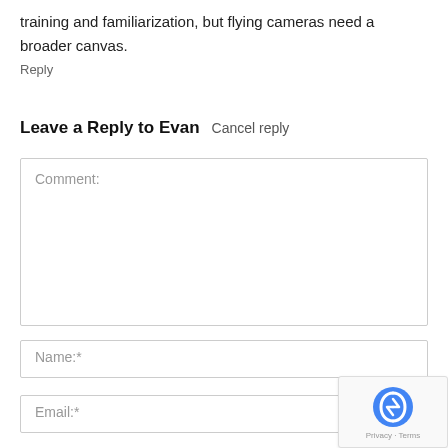training and familiarization, but flying cameras need a broader canvas.
Reply
Leave a Reply to Evan   Cancel reply
Comment:
Name:*
Email:*